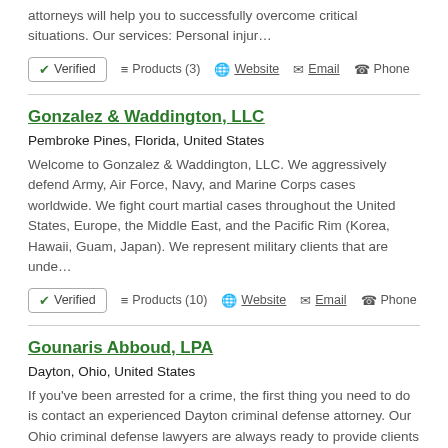attorneys will help you to successfully overcome critical situations. Our services: Personal injur…
✔ Verified   ≡ Products (3)   🌐 Website   ✉ Email   ☎ Phone
Gonzalez & Waddington, LLC
Pembroke Pines, Florida, United States
Welcome to Gonzalez & Waddington, LLC. We aggressively defend Army, Air Force, Navy, and Marine Corps cases worldwide. We fight court martial cases throughout the United States, Europe, the Middle East, and the Pacific Rim (Korea, Hawaii, Guam, Japan). We represent military clients that are unde…
✔ Verified   ≡ Products (10)   🌐 Website   ✉ Email   ☎ Phone
Gounaris Abboud, LPA
Dayton, Ohio, United States
If you've been arrested for a crime, the first thing you need to do is contact an experienced Dayton criminal defense attorney. Our Ohio criminal defense lawyers are always ready to provide clients with aggressive and reliable representation. When facing criminal charges, your freedom is at stake…